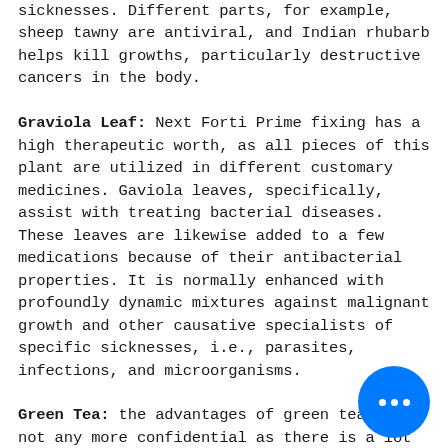sicknesses. Different parts, for example, sheep tawny are antiviral, and Indian rhubarb helps kill growths, particularly destructive cancers in the body. Graviola Leaf: Next Forti Prime fixing has a high therapeutic worth, as all pieces of this plant are utilized in different customary medicines. Gaviola leaves, specifically, assist with treating bacterial diseases. These leaves are likewise added to a few medications because of their antibacterial properties. It is normally enhanced with profoundly dynamic mixtures against malignant growth and other causative specialists of specific sicknesses, i.e., parasites, infections, and microorganisms. Green Tea: the advantages of green tea are not any more confidential as there is a lot of logical information to clarify how it further develops invulnerability. Green tea leaves are wealthy in cancer prevention agents and bioactive mixtures that animate the cerebrum. It safeguards against ongoing medical issue like
[Figure (other): Blue circular button with three white dots (ellipsis/more options button) positioned in lower right area]